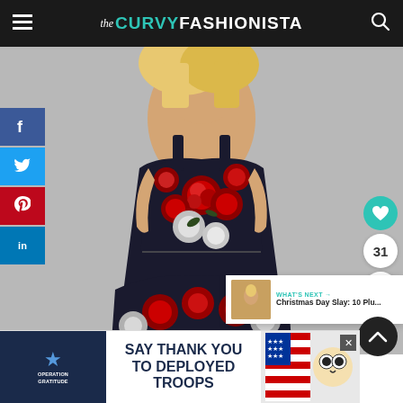the CURVY FASHIONISTA
[Figure (photo): A plus-size woman wearing a sleeveless black dress with large red and white floral print, with a fit-and-flare silhouette, photographed against a light grey background.]
[Figure (infographic): Social media share sidebar with Facebook, Twitter, Pinterest, and LinkedIn buttons on the left side.]
[Figure (infographic): Right side action buttons: teal heart/like button, count '31', and share button with arrow icon.]
WHAT'S NEXT → Christmas Day Slay: 10 Plu...
[Figure (infographic): Advertisement banner: Operation Gratitude - SAY THANK YOU TO DEPLOYED TROOPS]
SAY THANK YOU TO DEPLOYED TROOPS